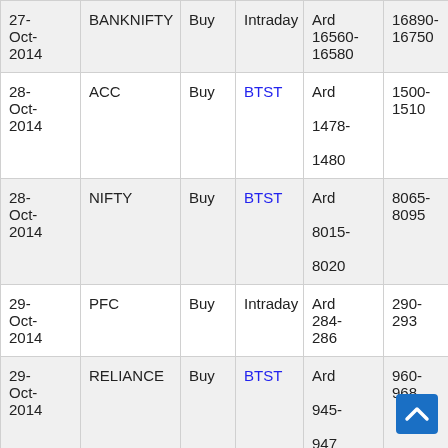| Date | Symbol | Action | Type | Buy Around | Target |
| --- | --- | --- | --- | --- | --- |
| 27-Oct-2014 | BANKNIFTY | Buy | Intraday | Ard 16560-16580 | 16890-16750 |
| 28-Oct-2014 | ACC | Buy | BTST | Ard 1478-1480 | 1500-1510 |
| 28-Oct-2014 | NIFTY | Buy | BTST | Ard 8015-8020 | 8065-8095 |
| 29-Oct-2014 | PFC | Buy | Intraday | Ard 284-286 | 290-293 |
| 29-Oct-2014 | RELIANCE | Buy | BTST | Ard 945-947 | 960-968 |
| 29-Oct-2014 | NIFTY | Buy | BTST | Ard 8070-… | 8120-8150 |